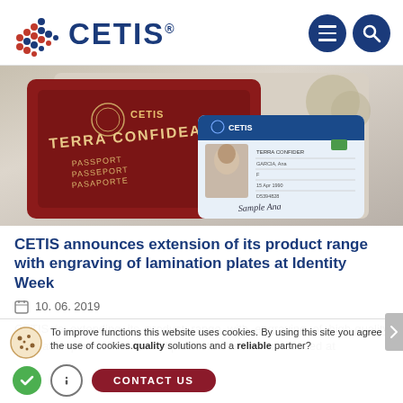CETIS®
[Figure (photo): Photo of CETIS branded passport (red, TERRA CONFIDEA, PASSPORT/PASSEPORT/PASAPORTE) and identity card (CETIS, TERRA CONFIDER, Sample Ana) on a beige background]
CETIS announces extension of its product range with engraving of lamination plates at Identity Week
10. 06. 2019
CETIS is extending its product range with engraving of high-quality lamination plates. The start of production will be announced at quality solutions and a reliable partner?
To improve functions this website uses cookies. By using this site you agree to the use of cookies.
CONTACT US